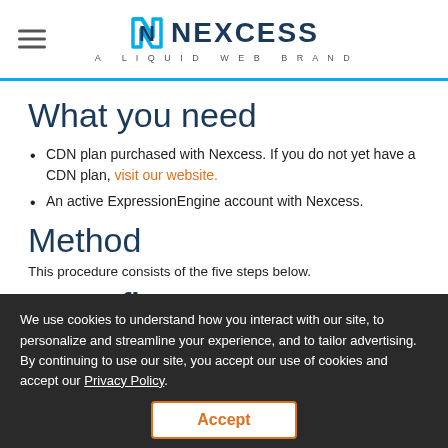NEXCESS – A LIQUID WEB BRAND
What you need
CDN plan purchased with Nexcess. If you do not yet have a CDN plan, visit our website.
An active ExpressionEngine account with Nexcess.
Method
This procedure consists of the five steps below.
1: Configure customer
We use cookies to understand how you interact with our site, to personalize and streamline your experience, and to tailor advertising. By continuing to use our site, you accept our use of cookies and accept our Privacy Policy.